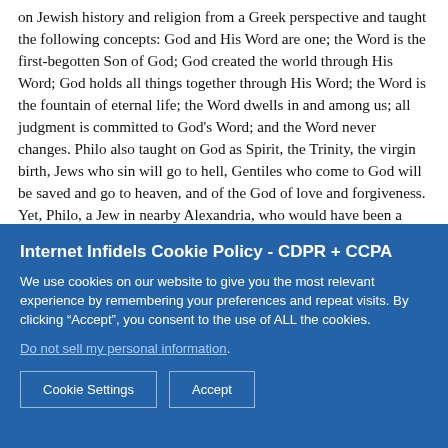on Jewish history and religion from a Greek perspective and taught the following concepts: God and His Word are one; the Word is the first-begotten Son of God; God created the world through His Word; God holds all things together through His Word; the Word is the fountain of eternal life; the Word dwells in and among us; all judgment is committed to God's Word; and the Word never changes. Philo also taught on God as Spirit, the Trinity, the virgin birth, Jews who sin will go to hell, Gentiles who come to God will be saved and go to heaven, and of the God of love and forgiveness. Yet, Philo, a Jew in nearby Alexandria, who would have been a contemporary of Jesus never once mentions anybody named Jesus nor any miracle worker being crucified and resurrected in Jerusalem, let alone an eclipse, an earthquake, or Jews being resurrected from their
Internet Infidels Cookie Policy - CDPR + CCPA
We use cookies on our website to give you the most relevant experience by remembering your preferences and repeat visits. By clicking “Accept”, you consent to the use of ALL the cookies.
Do not sell my personal information.
Cookie Settings  Accept